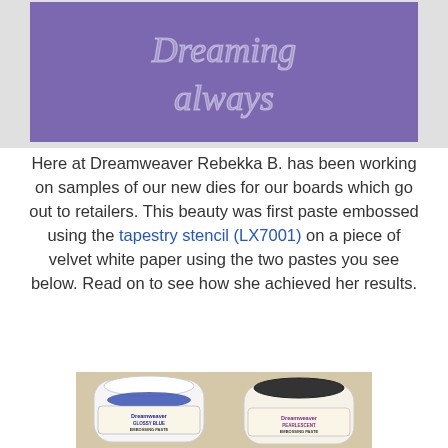[Figure (photo): Close-up photo of a purple velvet paper with embossed script lettering reading 'Dreaming always', shown in a silver/white raised texture against the purple background.]
Here at Dreamweaver Rebekka B. has been working on samples of our new dies for our boards which go out to retailers. This beauty was first paste embossed using the tapestery stencil (LX7001) on a piece of velvet white paper using the two pastes you see below. Read on to see how she achieved her results.
[Figure (photo): Photo of two Dreamweaver Stencils embossing paste jars side by side on a tan/cream surface. Left jar has a white lid and blue paste labeled 'Glossy Blue Embossing Paste'. Right jar has a dark/black lid and cream paste labeled 'Pearlescent Embossing Paste'.]